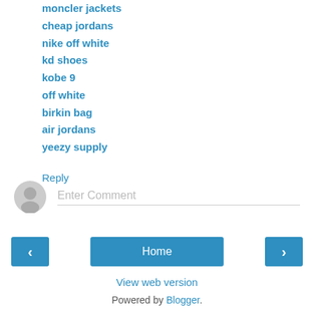moncler jackets
cheap jordans
nike off white
kd shoes
kobe 9
off white
birkin bag
air jordans
yeezy supply
Reply
Enter Comment
Home
View web version
Powered by Blogger.